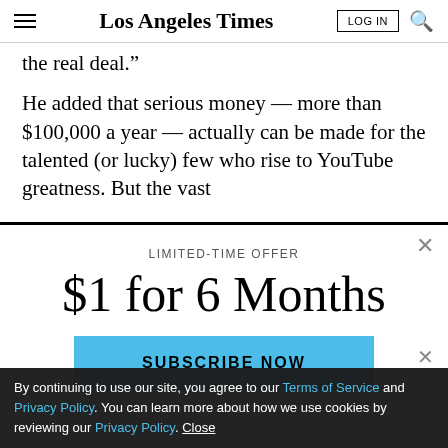Los Angeles Times
the real deal.”
He added that serious money — more than $100,000 a year — actually can be made for the talented (or lucky) few who rise to YouTube greatness. But the vast
LIMITED-TIME OFFER
$1 for 6 Months
SUBSCRIBE NOW
By continuing to use our site, you agree to our Terms of Service and Privacy Policy. You can learn more about how we use cookies by reviewing our Privacy Policy. Close